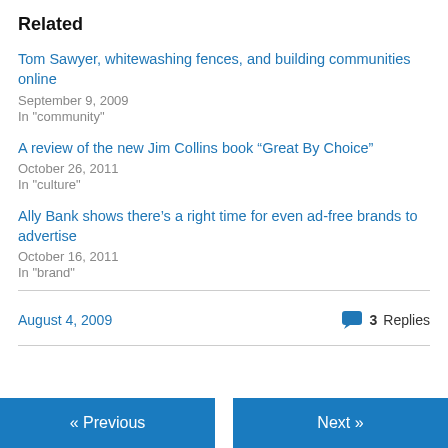Related
Tom Sawyer, whitewashing fences, and building communities online
September 9, 2009
In "community"
A review of the new Jim Collins book “Great By Choice”
October 26, 2011
In "culture"
Ally Bank shows there’s a right time for even ad-free brands to advertise
October 16, 2011
In "brand"
August 4, 2009   3 Replies
« Previous   Next »